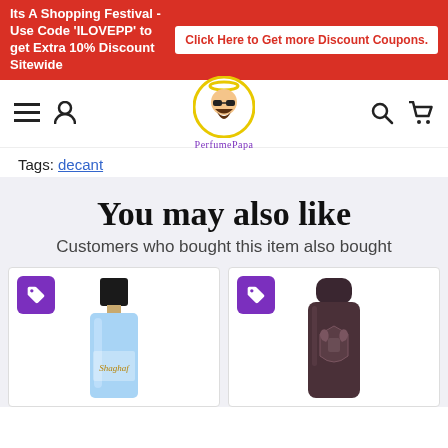Its A Shopping Festival - Use Code 'ILOVEPP' to get Extra 10% Discount Sitewide  Click Here to Get more Discount Coupons.
[Figure (logo): PerfumePapa logo - circular badge with illustrated man with beard and sunglasses, yellow halo, text 'PerfumePapa' below]
Tags: decant
You may also like
Customers who bought this item also bought
[Figure (photo): Blue perfume bottle (Shaghaf or similar) with black rectangular cap, light blue glass body with cursive script label]
[Figure (photo): Dark brown/charcoal perfume bottle with embossed equestrian crest logo, rounded rectangular shape with dark cap]